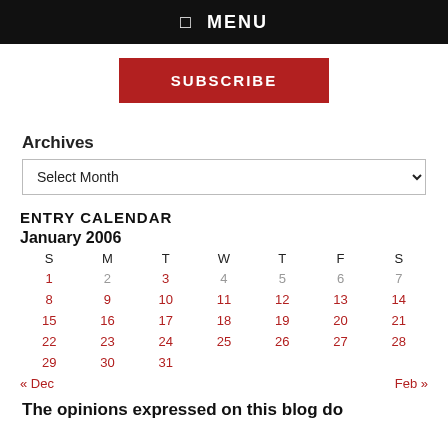☰ MENU
[Figure (other): Red SUBSCRIBE button]
Archives
Select Month (dropdown)
ENTRY CALENDAR
| S | M | T | W | T | F | S |
| --- | --- | --- | --- | --- | --- | --- |
| 1 | 2 | 3 | 4 | 5 | 6 | 7 |
| 8 | 9 | 10 | 11 | 12 | 13 | 14 |
| 15 | 16 | 17 | 18 | 19 | 20 | 21 |
| 22 | 23 | 24 | 25 | 26 | 27 | 28 |
| 29 | 30 | 31 |  |  |  |  |
« Dec    Feb »
The opinions expressed on this blog do